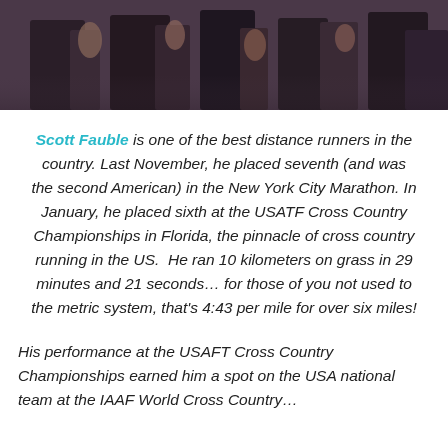[Figure (photo): Cropped photo showing the lower bodies/legs of runners at a race event, dark background]
Scott Fauble is one of the best distance runners in the country. Last November, he placed seventh (and was the second American) in the New York City Marathon. In January, he placed sixth at the USATF Cross Country Championships in Florida, the pinnacle of cross country running in the US. He ran 10 kilometers on grass in 29 minutes and 21 seconds… for those of you not used to the metric system, that's 4:43 per mile for over six miles!
His performance at the USAFT Cross Country Championships earned him a spot on the USA national team at the IAAF World Cross Country…